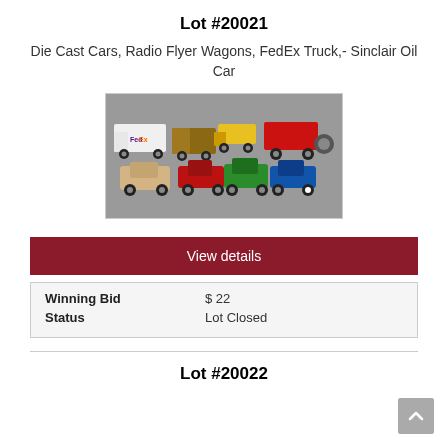Lot #20021
Die Cast Cars, Radio Flyer Wagons, FedEx Truck,- Sinclair Oil Car
[Figure (photo): Collection of die cast cars and toy vehicles including a FedEx truck, Radio Flyer wagons, Sinclair Oil car, and various colorful die cast cars arranged on a gray surface.]
View details
| Winning Bid | $ 22 |
| Status | Lot Closed |
Lot #20022